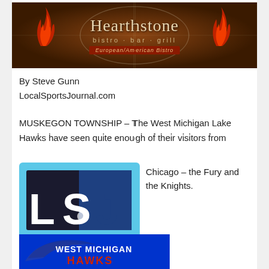[Figure (logo): Hearthstone bistro bar grill banner with dark wood/basketball court background, red flames on sides, text: Hearthstone bistro · bar · grill European/American Bistro]
By Steve Gunn
LocalSportsJournal.com
MUSKEGON TOWNSHIP – The West Michigan Lake Hawks have seen quite enough of their visitors from Chicago – the Fury and the Knights.
[Figure (logo): Local Sports Journal (LSJ) logo with blue and black shield design and 'LOCAL SPORTS Journal' text at bottom]
[Figure (logo): West Michigan Hawks logo on blue background showing a hawk with wings and text 'WEST MICHIGAN HAWKS']